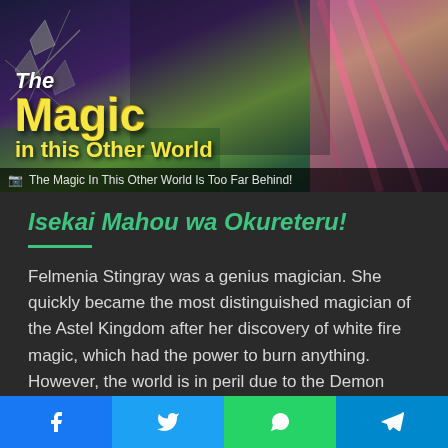[Figure (illustration): Manga/light novel cover art for 'The Magic in this Other World is Too Far Behind!' featuring anime-style characters with colorful backgrounds including green and pink hair characters]
The Magic In This Other World Is Too Far Behind!
Isekai Mahou wa Okureteru!
Felmenia Stingray was a genius magician. She quickly became the most distinguished magician of the Astel Kingdom after her discovery of white fire magic, which had the power to burn anything. However, the world is in peril due to the Demon